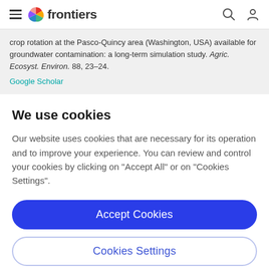frontiers
crop rotation at the Pasco-Quincy area (Washington, USA) available for groundwater contamination: a long-term simulation study. Agric. Ecosyst. Environ. 88, 23–24.
Google Scholar
We use cookies
Our website uses cookies that are necessary for its operation and to improve your experience. You can review and control your cookies by clicking on "Accept All" or on "Cookies Settings".
Accept Cookies
Cookies Settings